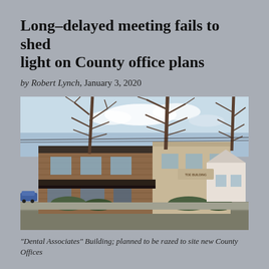Long-delayed meeting fails to shed light on County office plans
by Robert Lynch, January 3, 2020
[Figure (photo): Exterior photo of the 'Dental Associates' Building, a two-story brick and tan commercial building with bare winter trees in front, under a blue sky. The building is planned to be razed to site new County Offices.]
"Dental Associates" Building; planned to be razed to site new County Offices